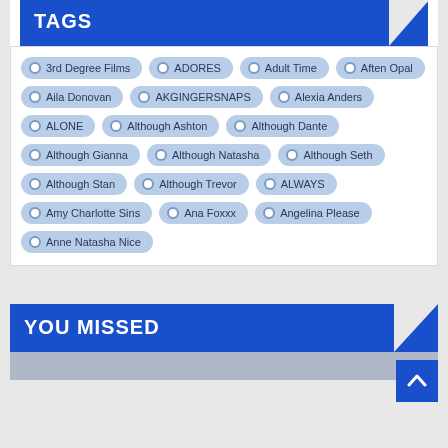TAGS
3rd Degree Films
ADORES
Adult Time
Aften Opal
Aila Donovan
AKGINGERSNAPS
Alexia Anders
ALONE
Although Ashton
Although Dante
Although Gianna
Although Natasha
Although Seth
Although Stan
Although Trevor
ALWAYS
Amy Charlotte Sins
Ana Foxxx
Angelina Please
Anne Natasha Nice
YOU MISSED